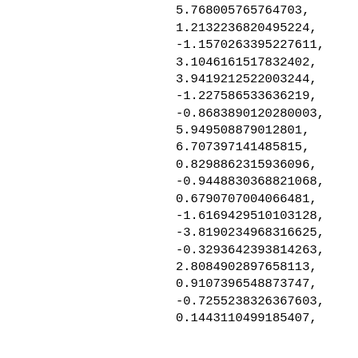3.628063451487746,
5.768005765764703,
1.2132236820495224,
-1.1570263395227611,
3.1046161517832402,
3.9419212522003244,
-1.227586533636219,
-0.8683890120280003,
5.949508879012801,
6.707397141485815,
0.8298862315936096,
-0.9448830368821068,
0.6790707004066481,
-1.6169429510103128,
-3.8190234968316625,
-0.3293642393814263,
2.8084902897658113,
0.9107396548873747,
-0.7255238326367603,
0.1443110499185407,